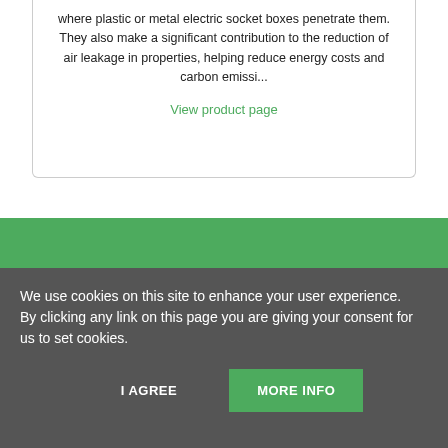where plastic or metal electric socket boxes penetrate them. They also make a significant contribution to the reduction of air leakage in properties, helping reduce energy costs and carbon emissi...
View product page
[Figure (other): Green banner background section]
We use cookies on this site to enhance your user experience.
By clicking any link on this page you are giving your consent for us to set cookies.
I AGREE
MORE INFO